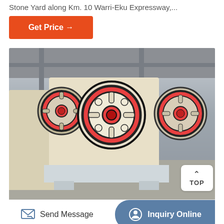Stone Yard along Km. 10 Warri-Eku Expressway,...
Get Price →
[Figure (photo): Industrial jaw crusher machines with large red and black flywheels on cream/white frames, photographed inside a large factory or warehouse. Multiple machines are visible, with the closest one showing prominent circular flywheels with red trim. A 'TOP' navigation button overlay appears in the bottom right of the image.]
Send Message
Inquiry Online